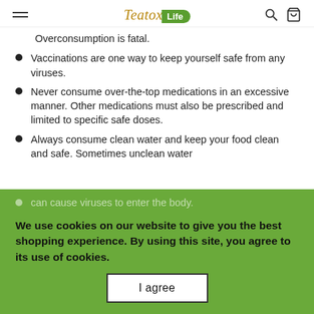Teatox Life
Overconsumption is fatal.
Vaccinations are one way to keep yourself safe from any viruses.
Never consume over-the-top medications in an excessive manner. Other medications must also be prescribed and limited to specific safe doses.
Always consume clean water and keep your food clean and safe. Sometimes unclean water can cause viruses to enter the body.
Stay away or use protection when in contact with chemical content like aerosol sprays.
Drop some pounds if obese to avoid damaging the liver.
We use cookies on our website to give you the best shopping experience. By using this site, you agree to its use of cookies.